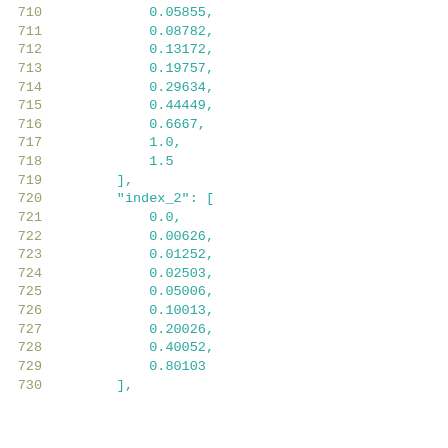710    0.05855,
711    0.08782,
712    0.13172,
713    0.19757,
714    0.29634,
715    0.44449,
716    0.6667,
717    1.0,
718    1.5
719    ],
720    "index_2": [
721    0.0,
722    0.00626,
723    0.01252,
724    0.02503,
725    0.05006,
726    0.10013,
727    0.20026,
728    0.40052,
729    0.80103
730    ],